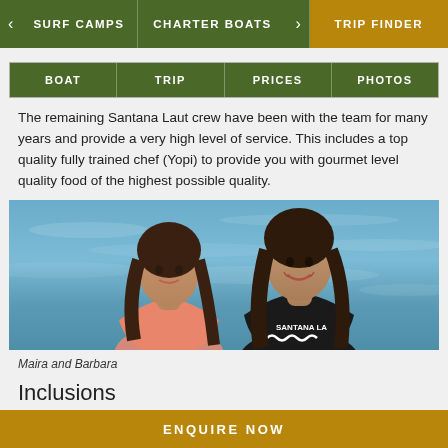SURF CAMPS   CHARTER BOATS   TRIP FINDER
BOAT   TRIP   PRICES   PHOTOS
The remaining Santana Laut crew have been with the team for many years and provide a very high level of service. This includes a top quality fully trained chef (Yopi) to provide you with gourmet level quality food of the highest possible quality.
[Figure (photo): Two women smiling in front of ocean water, one wearing a pink top and one wearing a black Santana Laut t-shirt]
Maira and Barbara
Inclusions
ENQUIRE NOW